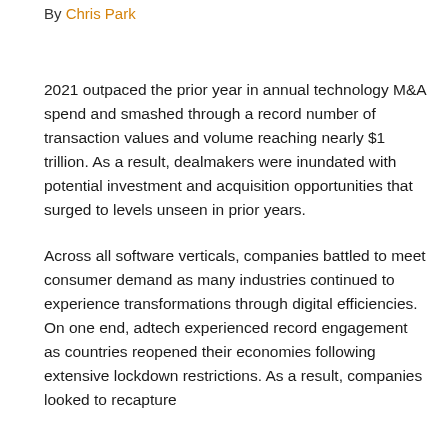By Chris Park
2021 outpaced the prior year in annual technology M&A spend and smashed through a record number of transaction values and volume reaching nearly $1 trillion. As a result, dealmakers were inundated with potential investment and acquisition opportunities that surged to levels unseen in prior years.
Across all software verticals, companies battled to meet consumer demand as many industries continued to experience transformations through digital efficiencies. On one end, adtech experienced record engagement as countries reopened their economies following extensive lockdown restrictions. As a result, companies looked to recapture